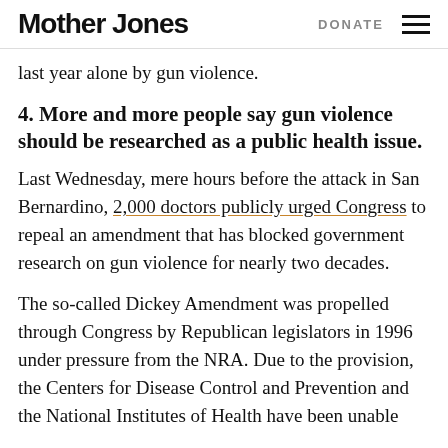Mother Jones  DONATE
last year alone by gun violence.
4. More and more people say gun violence should be researched as a public health issue.
Last Wednesday, mere hours before the attack in San Bernardino, 2,000 doctors publicly urged Congress to repeal an amendment that has blocked government research on gun violence for nearly two decades.
The so-called Dickey Amendment was propelled through Congress by Republican legislators in 1996 under pressure from the NRA. Due to the provision, the Centers for Disease Control and Prevention and the National Institutes of Health have been unable